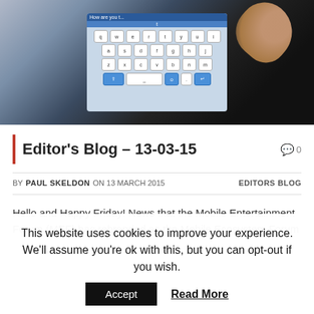[Figure (photo): Close-up photo of a hand typing on a smartphone touchscreen keyboard with blue keys visible]
Editor's Blog – 13-03-15
BY PAUL SKELDON ON 13 MARCH 2015   EDITORS BLOG
Hello and Happy Friday! News that the Mobile Entertainment Forum (MEF) has rebranded as the Mobile Ecosystem Forum
This website uses cookies to improve your experience. We'll assume you're ok with this, but you can opt-out if you wish. Accept  Read More